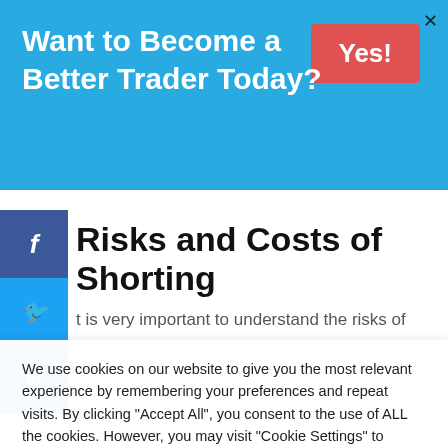Want to Become a Better Trader Today?
Risks and Costs of Shorting
t is very important to understand the risks of
We use cookies on our website to give you the most relevant experience by remembering your preferences and repeat visits. By clicking "Accept All", you consent to the use of ALL the cookies. However, you may visit "Cookie Settings" to provide a controlled consent.